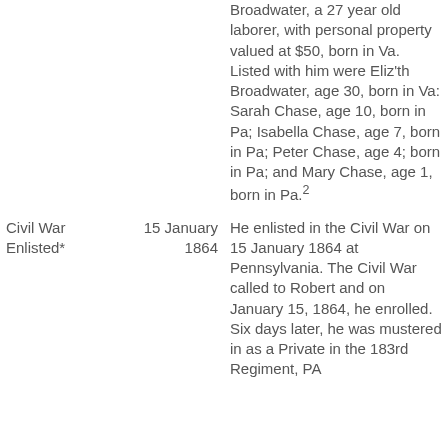Broadwater, a 27 year old laborer, with personal property valued at $50, born in Va. Listed with him were Eliz'th Broadwater, age 30, born in Va: Sarah Chase, age 10, born in Pa; Isabella Chase, age 7, born in Pa; Peter Chase, age 4; born in Pa; and Mary Chase, age 1, born in Pa.2
Civil War Enlisted*
15 January 1864
He enlisted in the Civil War on 15 January 1864 at Pennsylvania. The Civil War called to Robert and on January 15, 1864, he enrolled. Six days later, he was mustered in as a Private in the 183rd Regiment, PA...